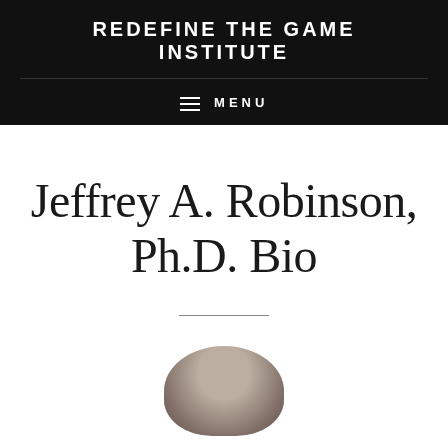REDEFINE THE GAME INSTITUTE
≡ MENU
Jeffrey A. Robinson, Ph.D. Bio
[Figure (photo): Partial photo of a person's head, cropped at the bottom of the page]